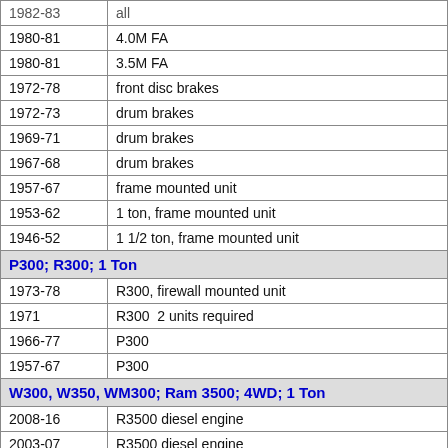| Year | Description |
| --- | --- |
| 1982-83 | all |
| 1980-81 | 4.0M FA |
| 1980-81 | 3.5M FA |
| 1972-78 | front disc brakes |
| 1972-73 | drum brakes |
| 1969-71 | drum brakes |
| 1967-68 | drum brakes |
| 1957-67 | frame mounted unit |
| 1953-62 | 1 ton, frame mounted unit |
| 1946-52 | 1 1/2 ton, frame mounted unit |
| P300; R300; 1 Ton |  |
| 1973-78 | R300, firewall mounted unit |
| 1971 | R300  2 units required |
| 1966-77 | P300 |
| 1957-67 | P300 |
| W300, W350, WM300; Ram 3500; 4WD; 1 Ton |  |
| 2008-16 | R3500 diesel engine |
| 2003-07 | R3500 diesel engine |
| 2003-05 | R3500 gas engine |
| 2002 | R3500 gas engine |